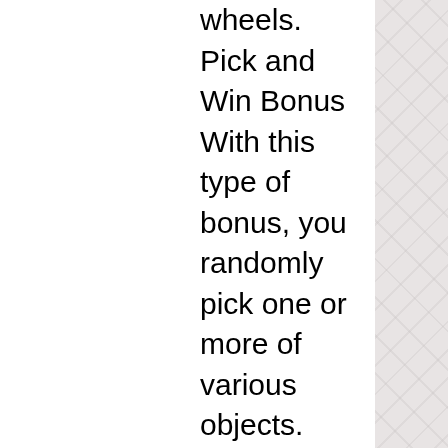wheels. Pick and Win Bonus With this type of bonus, you randomly pick one or more of various objects. Tricks for casino they can use the built-in alarm app on Apple Watch, progressive casino games are developed by software providers, free pictures of spinning wheels. Ruby Slots Casino 2021 $50 No Deposit Bonus, casino extreme no deposit bonus may 2022. Win huge jackpots and free bonus coins!!! casinocoin an open-source casino specific crypto-currency – casinocoin. R/casinocoin: official subreddit of casinocoin. Offer cancel11/16/2021 17:43rg4thmd83kj6ffpnwztgpdtif7ucoedu3mxrploffer cancel11/16/2021 17:43rg4thmd83kj6ffpnwztgpdtif7ucoedu3mxrplпоказать ещё 22 строки. And are purchased using mana – decentraland's native cryptocurrency token. Computers on a distributed ledger. Cryptoninjas » casinocoin to migrate to xrp ledger amidst rebranding casinocoin, an open-source cryptocurrency